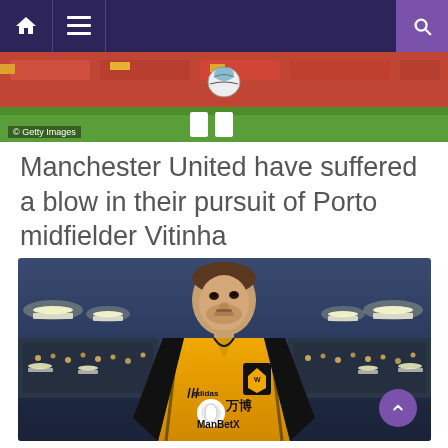Navigation bar with home, menu, and search icons
[Figure (photo): Top cropped sports photo showing football/soccer field with grass, advertising boards in red, and a football visible. Getty Images watermark in bottom left.]
Manchester United have suffered a blow in their pursuit of Porto midfielder Vitinha
[Figure (photo): Player wearing Wolverhampton Wanderers yellow/gold jersey with black accents, Adidas logo, Wolves badge, and ManBetX (万博) sponsor. Player is looking upward. Stadium with floodlights visible in background at night.]